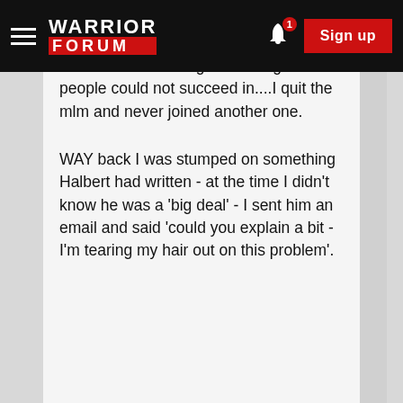Warrior Forum — Sign up
...since experience so it never occurred to me I couldn't sell it. When I realized I was selling something other people could not succeed in....I quit the mlm and never joined another one.
WAY back I was stumped on something Halbert had written - at the time I didn't know he was a 'big deal' - I sent him an email and said 'could you explain a bit - I'm tearing my hair out on this problem'.